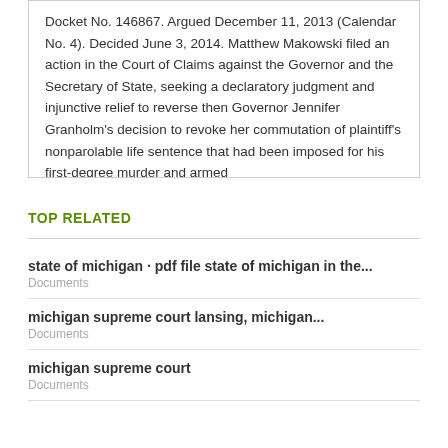Docket No. 146867. Argued December 11, 2013 (Calendar No. 4). Decided June 3, 2014. Matthew Makowski filed an action in the Court of Claims against the Governor and the Secretary of State, seeking a declaratory judgment and injunctive relief to reverse then Governor Jennifer Granholm's decision to revoke her commutation of plaintiff's nonparolable life sentence that had been imposed for his first-degree murder and armed...
TOP RELATED
state of michigan · pdf file state of michigan in the...
Documents
michigan supreme court lansing, michigan...
Documents
michigan supreme court
Documents